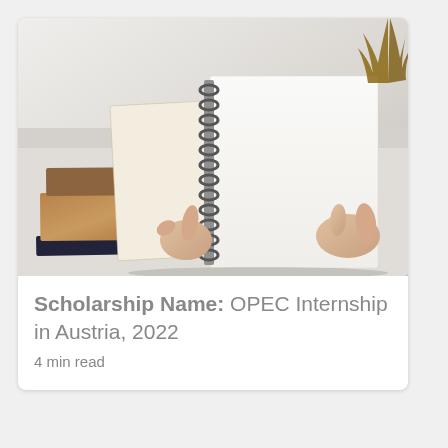[Figure (photo): Person opening a spiral-bound notebook on a white desk, with stacked books in brown/kraft covers on the left, two hands holding the notebook open, and a dried plant in the top right corner.]
Scholarship Name: OPEC Internship in Austria, 2022
4 min read